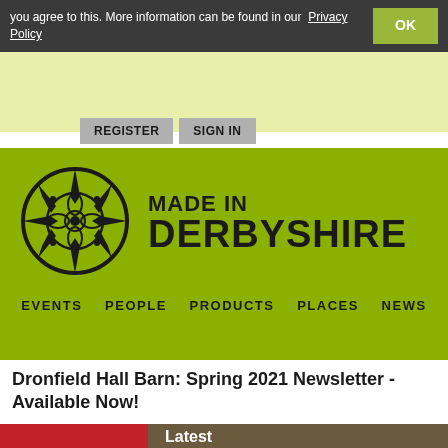you agree to this. More information can be found in our Privacy Policy
[Figure (screenshot): OK button in green/olive color]
[Figure (logo): Made in Derbyshire circular logo with floral/star design]
MADE IN DERBYSHIRE
REGISTER
SIGN IN
EVENTS  PEOPLE  PRODUCTS  PLACES  NEWS
Dronfield Hall Barn: Spring 2021 Newsletter - Available Now!
[Figure (photo): Dronfield Hall Barn logo on red background and wooden beams photo with 'Latest Update' text overlay]